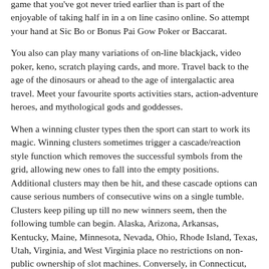game that you've got never tried earlier than is part of the enjoyable of taking half in in a on line casino online. So attempt your hand at Sic Bo or Bonus Pai Gow Poker or Baccarat.
You also can play many variations of on-line blackjack, video poker, keno, scratch playing cards, and more. Travel back to the age of the dinosaurs or ahead to the age of intergalactic area travel. Meet your favourite sports activities stars, action-adventure heroes, and mythological gods and goddesses.
When a winning cluster types then the sport can start to work its magic. Winning clusters sometimes trigger a cascade/reaction style function which removes the successful symbols from the grid, allowing new ones to fall into the empty positions. Additional clusters may then be hit, and these cascade options can cause serious numbers of consecutive wins on a single tumble. Clusters keep piling up till no new winners seem, then the following tumble can begin. Alaska, Arizona, Arkansas, Kentucky, Maine, Minnesota, Nevada, Ohio, Rhode Island, Texas, Utah, Virginia, and West Virginia place no restrictions on non-public ownership of slot machines. Conversely, in Connecticut, Hawaii, Nebraska, South Carolina, and Tennessee, private possession of any slot machine is totally